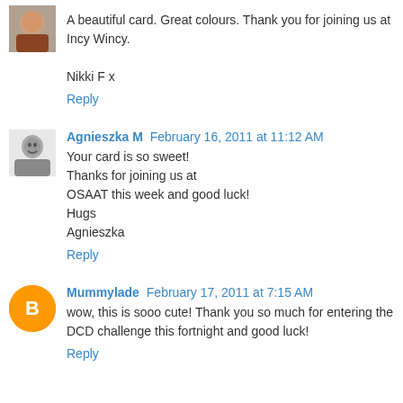[Figure (photo): Small avatar photo of a person (grayscale/color), top-left corner]
A beautiful card. Great colours. Thank you for joining us at Incy Wincy.

Nikki F x
Reply
[Figure (photo): Small black and white avatar photo of a person]
Agnieszka M  February 16, 2011 at 11:12 AM
Your card is so sweet!
Thanks for joining us at
OSAAT this week and good luck!
Hugs
Agnieszka
Reply
[Figure (illustration): Orange circle avatar with white letter B (Blogger icon)]
Mummylade  February 17, 2011 at 7:15 AM
wow, this is sooo cute! Thank you so much for entering the DCD challenge this fortnight and good luck!
Reply